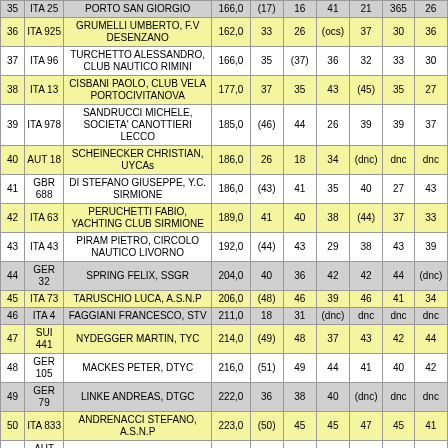| Pos | Nat | Name / Club | Pts | R1 | R2 | R3 | R4 | R5 | R6 |
| --- | --- | --- | --- | --- | --- | --- | --- | --- | --- |
| 35 | ITA 25 | PORTO SAN GIORGIO | 166,0 | (17) | 16 | 41 | 21 | 365 | 26 |
| 36 | ITA 925 | GRUMELLI UMBERTO, F.V DESENZANO | 162,0 | 33 | 26 | (ocs) | 37 | 30 | 36 |
| 37 | ITA 96 | TURCHETTO ALESSANDRO, CLUB NAUTICO RIMINI | 166,0 | 35 | (37) | 36 | 32 | 33 | 30 |
| 38 | ITA 13 | CISBANI PAOLO, CLUB VELA PORTOCIVITANOVA | 177,0 | 37 | 35 | 43 | (45) | 35 | 27 |
| 39 | ITA 978 | SANDRUCCI MICHELE, SOCIETA' CANOTTIERI LECCO | 185,0 | (46) | 44 | 26 | 39 | 39 | 37 |
| 40 | AUT 18 | SCHEINECKER CHRISTIAN, UYCAs | 186,0 | 26 | 18 | 34 | (dnc) | dnc | dnc |
| 41 | GBR 688 | DI STEFANO GIUSEPPE, Y.C. SIRMIONE | 186,0 | (43) | 41 | 35 | 40 | 27 | 43 |
| 42 | ITA 63 | PERUCHETTI FABIO, YACHTING CLUB SIRMIONE | 189,0 | 41 | 40 | 38 | (44) | 37 | 33 |
| 43 | ITA 43 | PIRAM PIETRO, CIRCOLO NAUTICO LIVORNO | 192,0 | (44) | 43 | 29 | 38 | 43 | 39 |
| 44 | GER 32 | SPRING FELIX, SSGR | 204,0 | 40 | 36 | 42 | 42 | 44 | (dnc) |
| 45 | ITA 73 | TARUSCHIO LUCA, A.S.N.P | 206,0 | (48) | 46 | 39 | 46 | 41 | 34 |
| 46 | ITA 4 | FAGGIANI FRANCESCO, STV | 211,0 | 18 | 31 | (dnc) | dnc | dnc | dnc |
| 47 | SUI 441 | NYDEGGER MARTIN, TYC | 214,0 | (49) | 48 | 37 | 43 | 42 | 44 |
| 48 | GER 105 | MACKES PETER, DTYC | 216,0 | (51) | 49 | 44 | 41 | 40 | 42 |
| 49 | GER 79 | LINKE ANDREAS, DTGC | 222,0 | 36 | 38 | 40 | (dnc) | dnc | dnc |
| 50 | ITA 833 | ANDRENACCI STEFANO, A.S.N.P | 223,0 | (50) | 45 | 45 | 47 | 45 | 41 |
| 51 | AUT 272 | KLOLBAR FRANZ, UYC WG | 258,0 | 42 | (dnc) | dnc | dnc | dnc | dnc |
| 52 | ITA 18 | DE MARIA ENRICO, SCSTM | 270,0 | (dnc) | dnc | dnc | dnc | dnc | dnc |
| 52 | ITA 37 | VISONA' PAOLO, FVM | 270,0 | (dnc) | dnc | dnc | dnc | dnc | dnc |